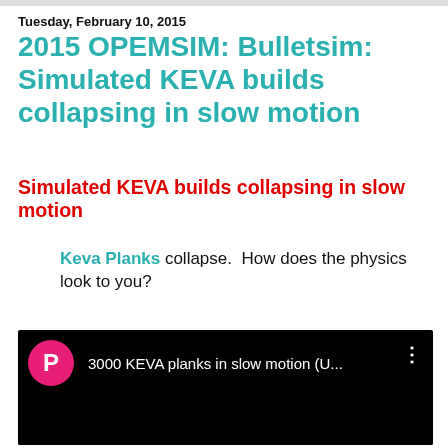Tuesday, February 10, 2015
2015 OPEMSIM: Bulletsim: Simulated KEVA builds collapsing in slow motion
Simulated KEVA builds collapsing in slow motion
Keva Planks collapse.  How does the physics look to you?
[Figure (screenshot): YouTube video thumbnail showing '3000 KEVA planks in slow motion (U...' with a pink avatar circle showing letter P and three-dot menu icon on a black background]